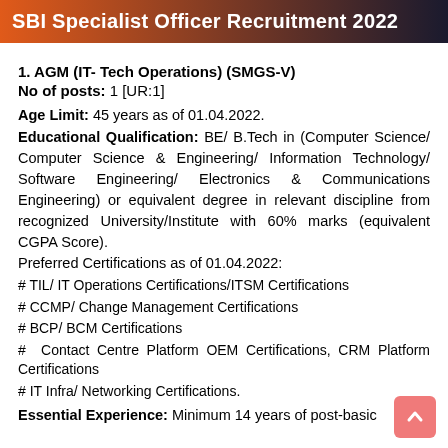SBI Specialist Officer Recruitment 2022
1. AGM (IT- Tech Operations) (SMGS-V)
No of posts: 1 [UR:1]
Age Limit: 45 years as of 01.04.2022.
Educational Qualification: BE/ B.Tech in (Computer Science/ Computer Science & Engineering/ Information Technology/ Software Engineering/ Electronics & Communications Engineering) or equivalent degree in relevant discipline from recognized University/Institute with 60% marks (equivalent CGPA Score).
Preferred Certifications as of 01.04.2022:
# TIL/ IT Operations Certifications/ITSM Certifications
# CCMP/ Change Management Certifications
# BCP/ BCM Certifications
# Contact Centre Platform OEM Certifications, CRM Platform Certifications
# IT Infra/ Networking Certifications.
Essential Experience: Minimum 14 years of post-basic